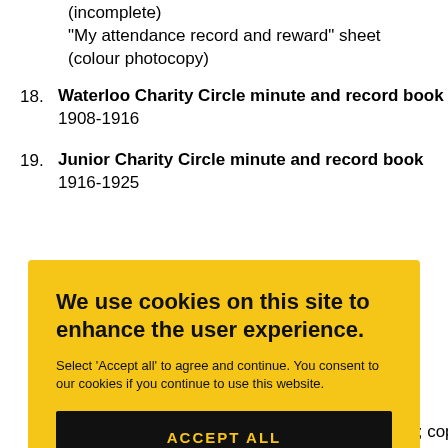(incomplete)
"My attendance record and reward" sheet (colour photocopy)
18. Waterloo Charity Circle minute and record book
1908-1916
19. Junior Charity Circle minute and record book
1916-1925
[Figure (screenshot): Cookie consent banner with yellow background. Title: 'We use cookies on this site to enhance the user experience.' Body: 'Select 'Accept all' to agree and continue. You consent to our cookies if you continue to use this website.' Button: 'ACCEPT ALL' in black with yellow text.]
1948-1952 (plus attendance book, 1948-1953); copy of